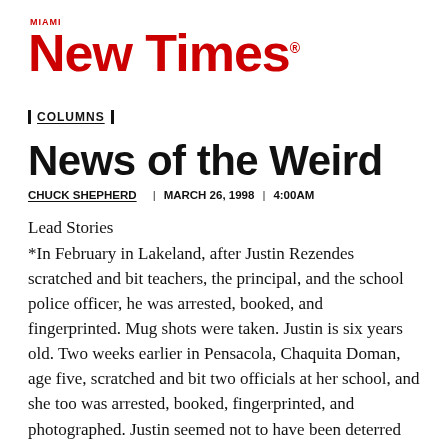[Figure (logo): Miami New Times logo in red]
| COLUMNS |
News of the Weird
CHUCK SHEPHERD  |  MARCH 26, 1998  |  4:00AM
Lead Stories
*In February in Lakeland, after Justin Rezendes scratched and bit teachers, the principal, and the school police officer, he was arrested, booked, and fingerprinted. Mug shots were taken. Justin is six years old. Two weeks earlier in Pensacola, Chaquita Doman, age five, scratched and bit two officials at her school, and she too was arrested, booked, fingerprinted, and photographed. Justin seemed not to have been deterred